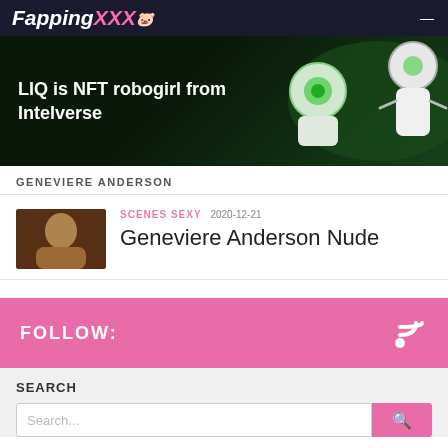FappingXXX
[Figure (illustration): Advertisement banner: 'LIQ is NFT robogirl from Intelverse' with green robotic figure on dark background]
GENEVIERE ANDERSON
[Figure (photo): Thumbnail image of Geneviere Anderson]
SCENES SEXY 2020-12-21
Geneviere Anderson Nude
FOLLOW:
SEARCH